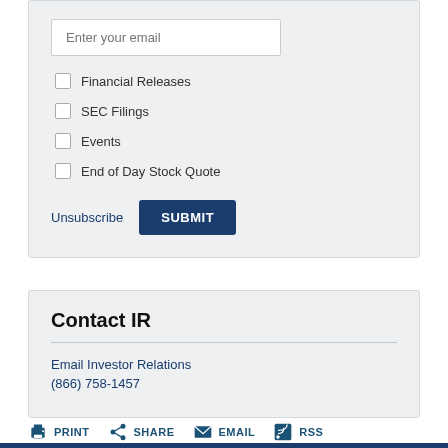Enter your email
Financial Releases
SEC Filings
Events
End of Day Stock Quote
Unsubscribe  SUBMIT
Contact IR
Email Investor Relations
(866) 758-1457
PRINT  SHARE  EMAIL  RSS